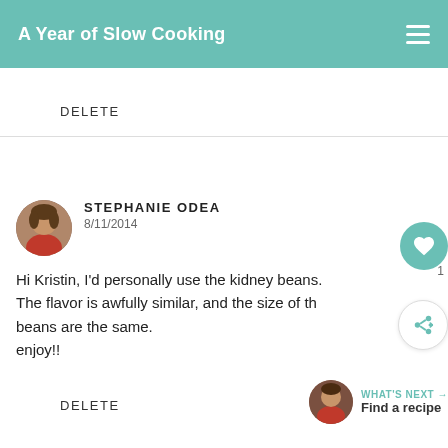A Year of Slow Cooking
DELETE
STEPHANIE ODEA
8/11/2014
Hi Kristin, I'd personally use the kidney beans. The flavor is awfully similar, and the size of the beans are the same.
enjoy!!
DELETE
[Figure (screenshot): HEAD OVER HEELS advertisement with a dog image on a dark green background]